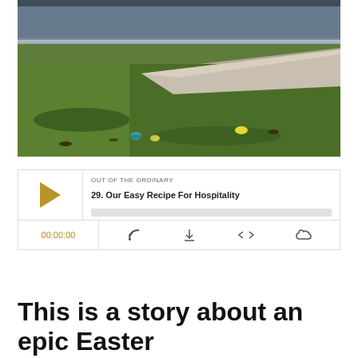[Figure (photo): Outdoor photo of an Easter egg hunt. Colorful plastic Easter eggs visible on green grass lawn. People gathered in the background on a sunny day.]
[Figure (screenshot): Podcast player widget. Series: OUT OF THE ORDINARY. Episode: 29. Our Easy Recipe For Hospitality. Time: 00:00:00. Controls: play button, progress bar, RSS, download, embed, and share icons.]
This is a story about an epic Easter